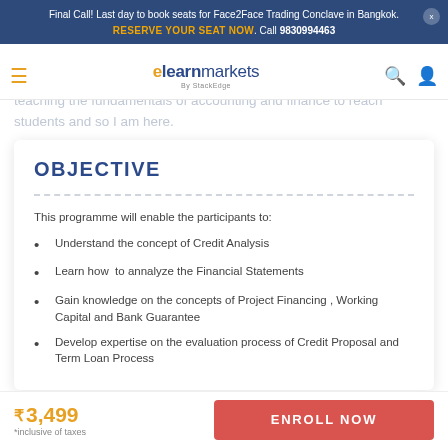Final Call! Last day to book seats for Face2Face Trading Conclave in Bangkok. RESERVE YOUR SEAT NOW. Call 9830994463
[Figure (logo): elearnmarkets by StackEdge logo with hamburger menu, search and account icons]
Development, Finance for Non Finance Executives, etc. I love teaching the fundamentals of accounting and finance to reach students and so I am here.
OBJECTIVE
This programme will enable the participants to:
Understand the concept of Credit Analysis
Learn how to annalyze the Financial Statements
Gain knowledge on the concepts of Project Financing , Working Capital and Bank Guarantee
Develop expertise on the evaluation process of Credit Proposal and Term Loan Process
₹ 3,499
*inclusive of taxes
ENROLL NOW